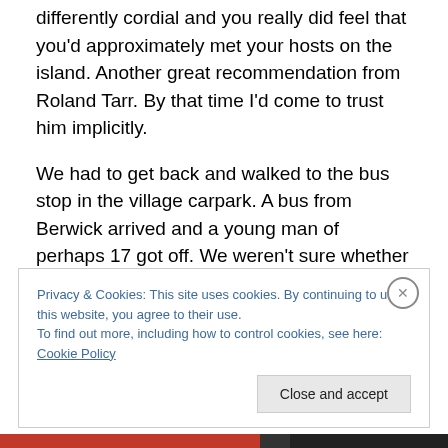differently cordial and you really did feel that you'd approximately met your hosts on the island. Another great recommendation from Roland Tarr. By that time I'd come to trust him implicitly.
We had to get back and walked to the bus stop in the village carpark. A bus from Berwick arrived and a young man of perhaps 17 got off. We weren't sure whether to get on that bus, but he authoritatively advised against it and pronounced our bus due in minutes. He kept lookout along the lane, ascertained its whereabouts and conscientiously
Privacy & Cookies: This site uses cookies. By continuing to use this website, you agree to their use.
To find out more, including how to control cookies, see here: Cookie Policy
Close and accept